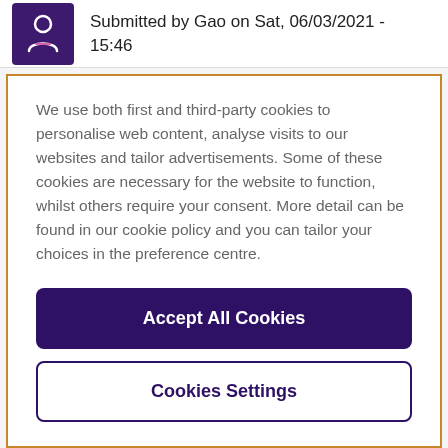Submitted by Gao on Sat, 06/03/2021 - 15:46
We use both first and third-party cookies to personalise web content, analyse visits to our websites and tailor advertisements. Some of these cookies are necessary for the website to function, whilst others require your consent. More detail can be found in our cookie policy and you can tailor your choices in the preference centre.
Accept All Cookies
Cookies Settings